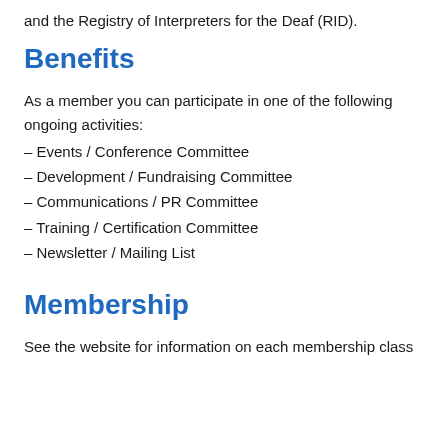and the Registry of Interpreters for the Deaf (RID).
Benefits
As a member you can participate in one of the following ongoing activities:
– Events / Conference Committee
– Development / Fundraising Committee
– Communications / PR Committee
– Training / Certification Committee
– Newsletter / Mailing List
Membership
See the website for information on each membership class